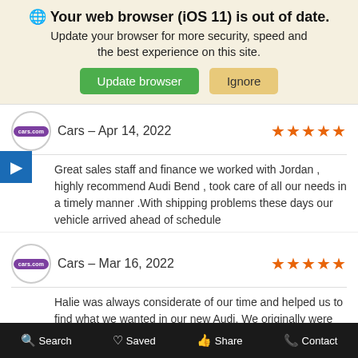🌐 Your web browser (iOS 11) is out of date. Update your browser for more security, speed and the best experience on this site.
Update browser | Ignore
Cars – Apr 14, 2022 ★★★★★
Great sales staff and finance we worked with Jordan , highly recommend Audi Bend , took care of all our needs in a timely manner .With shipping problems these days our vehicle arrived ahead of schedule
Cars – Mar 16, 2022 ★★★★★
Halie was always considerate of our time and helped us to find what we wanted in our new Audi. We originally were looking at the electric model, but after a few questions were answered we decided it would not work in our remote home location. She didn't have a Q5 in stock when we first started looking in January, but let us know when some
Search | Saved | Share | Contact